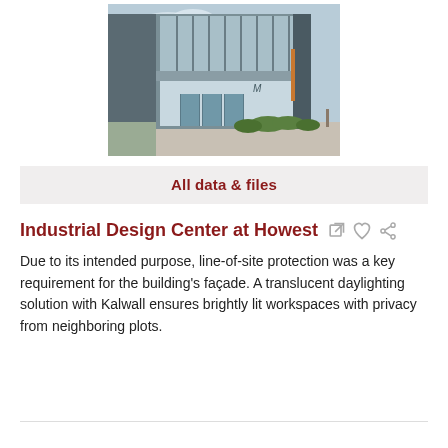[Figure (photo): Exterior photograph of the Industrial Design Center at Howest building, showing a modern facade with large glass curtain wall panels and dark cladding columns, with greenery at the base.]
All data & files
Industrial Design Center at Howest
Due to its intended purpose, line-of-site protection was a key requirement for the building's façade. A translucent daylighting solution with Kalwall ensures brightly lit workspaces with privacy from neighboring plots.